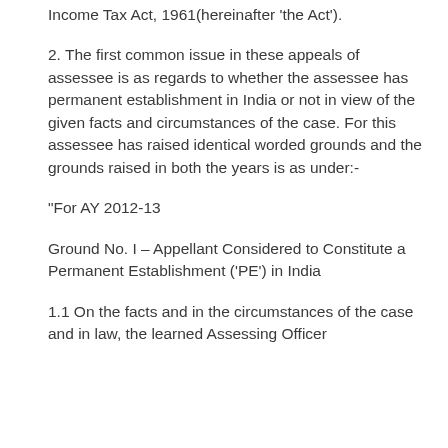Income Tax Act, 1961(hereinafter ‘the Act’).
2. The first common issue in these appeals of assessee is as regards to whether the assessee has permanent establishment in India or not in view of the given facts and circumstances of the case. For this assessee has raised identical worded grounds and the grounds raised in both the years is as under:-
“For AY 2012-13
Ground No. I – Appellant Considered to Constitute a Permanent Establishment (‘PE’) in India
1.1 On the facts and in the circumstances of the case and in law, the learned Assessing Officer